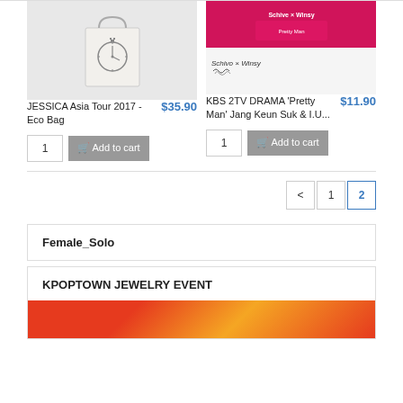[Figure (photo): JESSICA Asia Tour 2017 Eco Bag product photo - cream/white tote bag with clock illustration]
JESSICA Asia Tour 2017 - Eco Bag
$35.90
1
Add to cart
[Figure (photo): KBS 2TV Drama Pretty Man Jang Keun Suk and IU product photo - pink background with characters]
KBS 2TV DRAMA 'Pretty Man' Jang Keun Suk & I.U...
$11.90
1
Add to cart
< 1 2
Female_Solo
KPOPTOWN JEWELRY EVENT
[Figure (photo): Red and orange decorative banner image for KPOPTOWN JEWELRY EVENT]